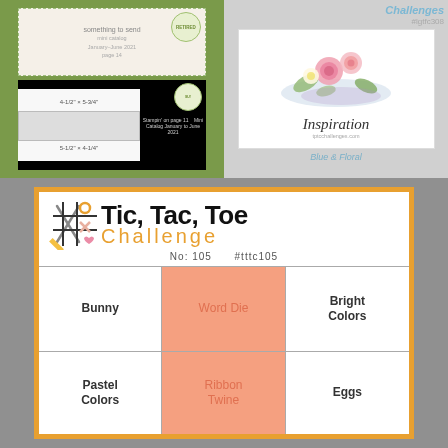[Figure (illustration): Top-left panel with green background showing two stamp/card product images: a decorative stamp on top and an envelope/card size reference below. Text shows size info and catalog reference.]
[Figure (illustration): Top-right panel showing a crafting challenge card with floral watercolor inspiration image labeled 'Inspiration' and subtitle 'Blue & Floral', with challenge hashtag #lgtfc308.]
[Figure (other): Bottom panel showing Tic Tac Toe Challenge No: 105 #tttc105 card with a 2x3 grid. Cells: Bunny, Word Die (highlighted), Bright Colors, Pastel Colors, Ribbon Twine (highlighted), Eggs.]